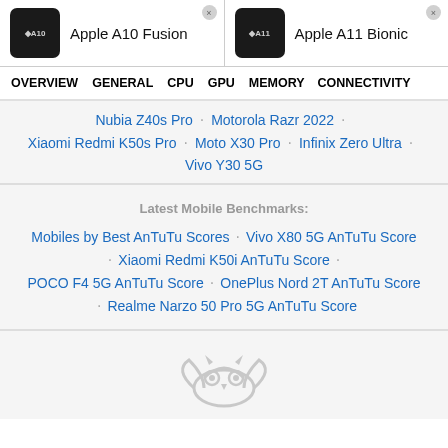Apple A10 Fusion vs Apple A11 Bionic
OVERVIEW · GENERAL · CPU · GPU · MEMORY · CONNECTIVITY
Nubia Z40s Pro · Motorola Razr 2022 · Xiaomi Redmi K50s Pro · Moto X30 Pro · Infinix Zero Ultra · Vivo Y30 5G
Latest Mobile Benchmarks:
Mobiles by Best AnTuTu Scores · Vivo X80 5G AnTuTu Score · Xiaomi Redmi K50i AnTuTu Score · POCO F4 5G AnTuTu Score · OnePlus Nord 2T AnTuTu Score · Realme Narzo 50 Pro 5G AnTuTu Score
[Figure (logo): Nanoreview owl logo watermark in light gray]